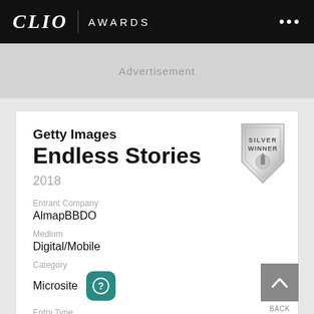CLIO AWARDS
Advertisement
Getty Images
Endless Stories
2018
Entrant Company
AlmapBBDO
Medium
Digital/Mobile
Category
Microsite
Entry Type
Business-to-Business
[Figure (logo): Silver Winner badge/shield icon]
[Figure (other): Back to top chevron button]